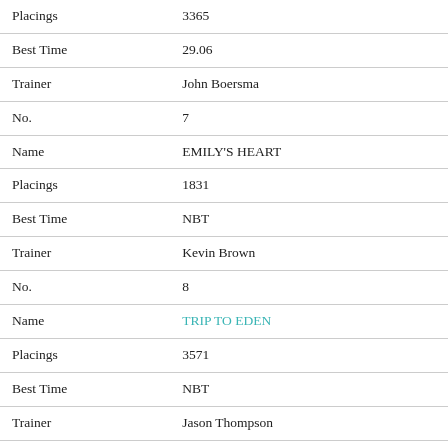| Placings | 3365 |
| Best Time | 29.06 |
| Trainer | John Boersma |
| No. | 7 |
| Name | EMILY'S HEART |
| Placings | 1831 |
| Best Time | NBT |
| Trainer | Kevin Brown |
| No. | 8 |
| Name | TRIP TO EDEN |
| Placings | 3571 |
| Best Time | NBT |
| Trainer | Jason Thompson |
| No. | 9 |
| Name | MY BOY CHRIS |
| Placings | 5473 |
| Best Time | 29.45 |